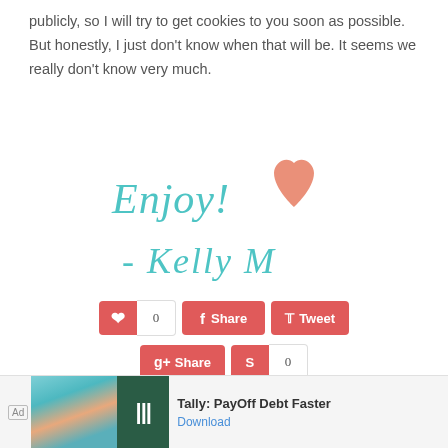publicly, so I will try to get cookies to you soon as possible. But honestly, I just don't know when that will be. It seems we really don't know very much.
[Figure (illustration): Handwritten script text 'Enjoy!' with a coral/salmon colored heart icon, and below '- Kelly M' in teal cursive handwriting]
[Figure (screenshot): Social sharing buttons row: Pinterest (0), Share (Facebook), Tweet (Twitter), G+ Share, Stumble (0) — all in coral/red color]
[Figure (screenshot): Ad banner at bottom: 'Ad' label, colorful image, Tally app logo, text 'Tally: PayOff Debt Faster', Download link]